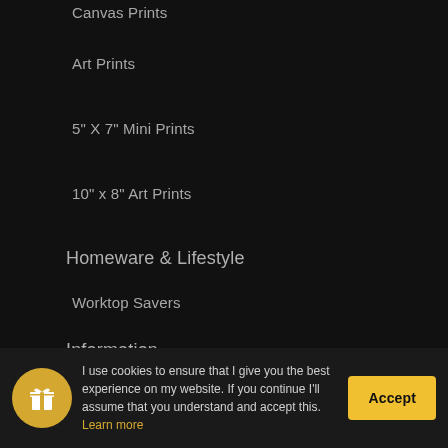Canvas Prints
Art Prints
5" X 7" Mini Prints
10" x 8" Art Prints
Homeware & Lifestyle
Worktop Savers
Information
About Me
FAQ
Privacy Policy
Refund Policy
I use cookies to ensure that I give you the best experience on my website. If you continue I'll assume that you understand and accept this. Learn more